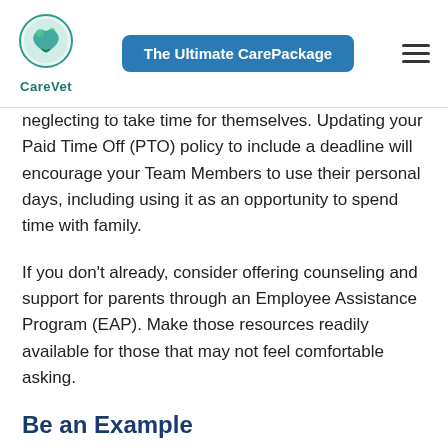CareVet | The Ultimate CarePackage
neglecting to take time for themselves. Updating your Paid Time Off (PTO) policy to include a deadline will encourage your Team Members to use their personal days, including using it as an opportunity to spend time with family.
If you don't already, consider offering counseling and support for parents through an Employee Assistance Program (EAP). Make those resources readily available for those that may not feel comfortable asking.
Be an Example